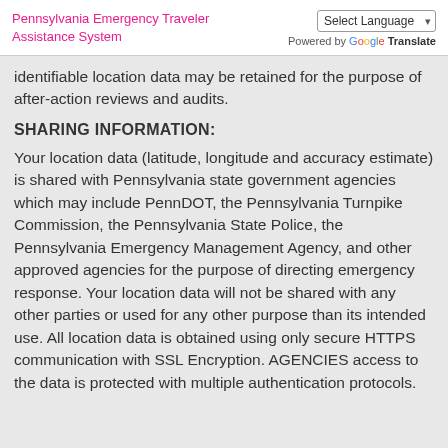Pennsylvania Emergency Traveler Assistance System
identifiable location data may be retained for the purpose of after-action reviews and audits.
SHARING INFORMATION:
Your location data (latitude, longitude and accuracy estimate) is shared with Pennsylvania state government agencies which may include PennDOT, the Pennsylvania Turnpike Commission, the Pennsylvania State Police, the Pennsylvania Emergency Management Agency, and other approved agencies for the purpose of directing emergency response. Your location data will not be shared with any other parties or used for any other purpose than its intended use. All location data is obtained using only secure HTTPS communication with SSL Encryption. AGENCIES access to the data is protected with multiple authentication protocols.